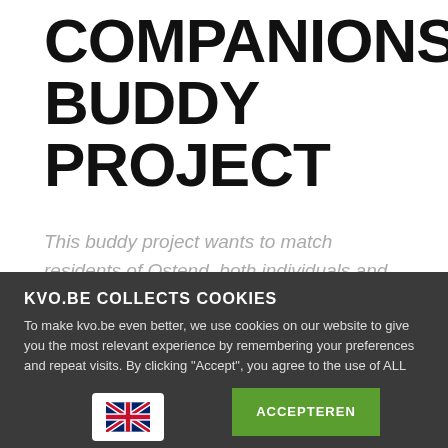COMPANIONS BUDDY PROJECT
This buddy project wants to match residents of Ostend, both individuals and families,
KVO.BE COLLECTS COOKIES
To make kvo.be even better, we use cookies on our website to give you the most relevant experience by remembering your preferences and repeat visits. By clicking "Accept", you agree to the use of ALL cookies.
ACCEPTEREN
[Figure (illustration): UK flag icon in a white rounded rectangle box]